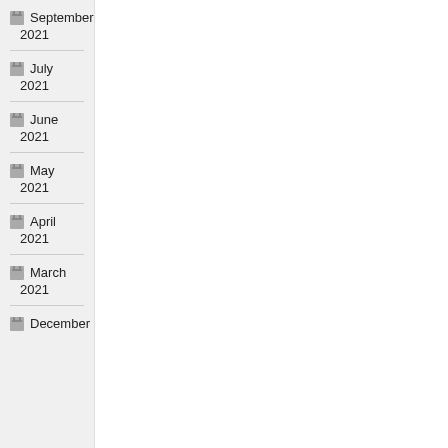September 2021
July 2021
June 2021
May 2021
April 2021
March 2021
December